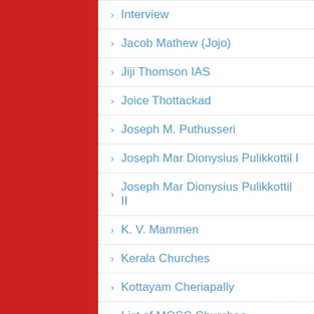Interview
Jacob Mathew (Jojo)
Jiji Thomson IAS
Joice Thottackad
Joseph M. Puthusseri
Joseph Mar Dionysius Pulikkottil I
Joseph Mar Dionysius Pulikkottil II
K. V. Mammen
Kerala Churches
Kottayam Cheriapally
List of MOSC Churches
M. G. George Muthoot
Malankara Association 2017 March